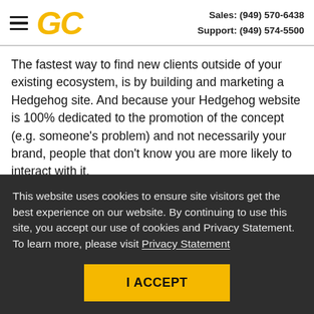GC  Sales: (949) 570-6438  Support: (949) 574-5500
The fastest way to find new clients outside of your existing ecosystem, is by building and marketing a Hedgehog site. And because your Hedgehog website is 100% dedicated to the promotion of the concept (e.g. someone's problem) and not necessarily your brand, people that don't know you are more likely to interact with it.
This website uses cookies to ensure site visitors get the best experience on our website. By continuing to use this site, you accept our use of cookies and Privacy Statement. To learn more, please visit Privacy Statement
I ACCEPT